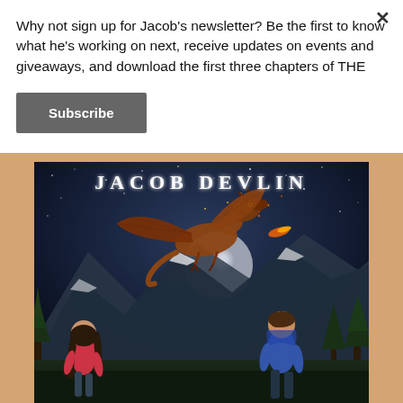Why not sign up for Jacob's newsletter? Be the first to know what he's working on next, receive updates on events and giveaways, and download the first three chapters of THE
Subscribe
[Figure (illustration): Book cover for Jacob Devlin featuring two teenagers with backpacks standing in the foreground looking up at a large dragon flying in a night sky with a full moon and mountains in the background. Text at top reads JACOB DEVLIN.]